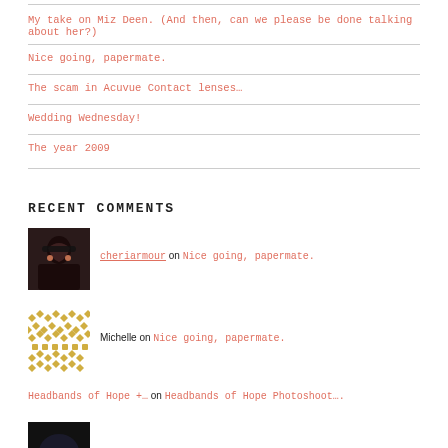My take on Miz Deen. (And then, can we please be done talking about her?)
Nice going, papermate.
The scam in Acuvue Contact lenses…
Wedding Wednesday!
The year 2009
RECENT COMMENTS
cheriarmour on Nice going, papermate.
Michelle on Nice going, papermate.
Headbands of Hope +… on Headbands of Hope Photoshoot….